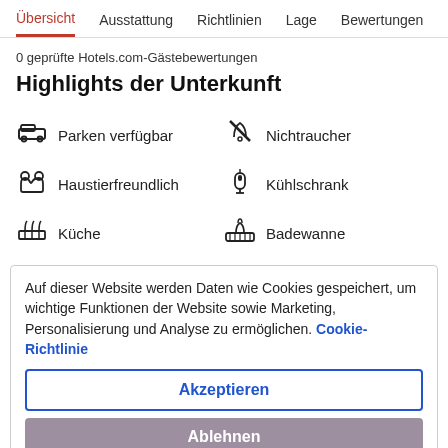Übersicht  Ausstattung  Richtlinien  Lage  Bewertungen
0 geprüfte Hotels.com-Gästebewertungen
Highlights der Unterkunft
Parken verfügbar
Nichtraucher
Haustierfreundlich
Kühlschrank
Küche
Badewanne
Auf dieser Website werden Daten wie Cookies gespeichert, um wichtige Funktionen der Website sowie Marketing, Personalisierung und Analyse zu ermöglichen. Cookie-Richtlinie
Akzeptieren
Ablehnen